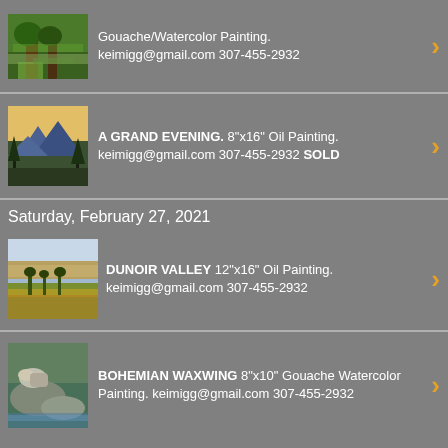Gouache/Watercolor Painting. keimigg@gmail.com 307-455-2932
A GRAND EVENING. 8"x16" Oil Painting. keimigg@gmail.com 307-455-2932 SOLD
Saturday, February 27, 2021
DUNOIR VALLEY 12"x16" Oil Painting. keimigg@gmail.com 307-455-2932
BOHEMIAN WAXWING 8"x10" Gouache Watercolor Painting. keimigg@gmail.com 307-455-2932